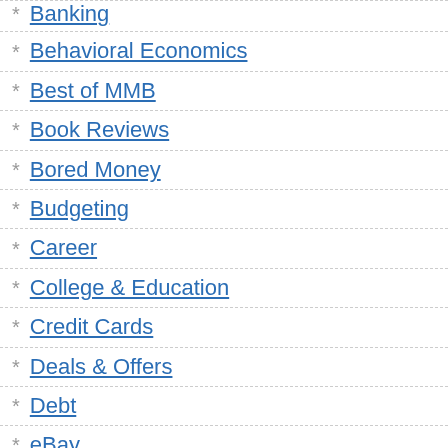Banking
Behavioral Economics
Best of MMB
Book Reviews
Bored Money
Budgeting
Career
College & Education
Credit Cards
Deals & Offers
Debt
eBay
Entrepreneurial